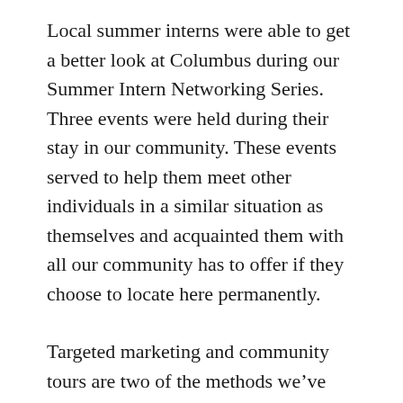Local summer interns were able to get a better look at Columbus during our Summer Intern Networking Series. Three events were held during their stay in our community. These events served to help them meet other individuals in a similar situation as themselves and acquainted them with all our community has to offer if they choose to locate here permanently.
Targeted marketing and community tours are two of the methods we’ve used to connect with job seekers outside our area and we’ve been successful in attracting skilled workers by sharing the great news about our careers, cost of living and the quality of life that can only be